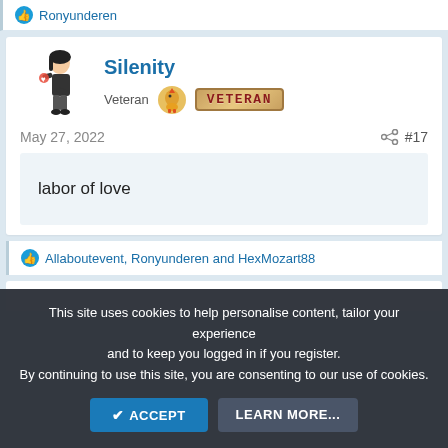Ronyunderen
Silenity
Veteran
May 27, 2022
#17
labor of love
Allaboutevent, Ronyunderen and HexMozart88
This site uses cookies to help personalise content, tailor your experience and to keep you logged in if you register. By continuing to use this site, you are consenting to our use of cookies.
ACCEPT   LEARN MORE...